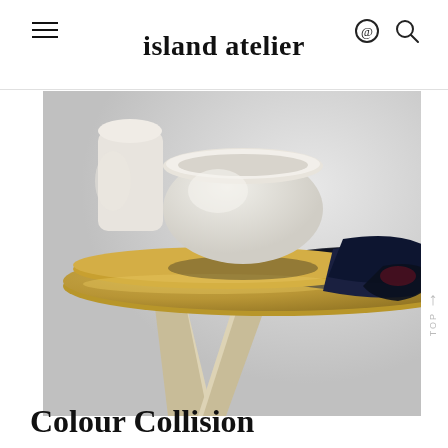island atelier
[Figure (photo): Close-up photograph of a round table with a two-tone top — mustard/golden yellow and dark navy/black epoxy resin — supported by light wood legs. A white ceramic bowl sits on top of the table. Background is light grey.]
Colour Collision